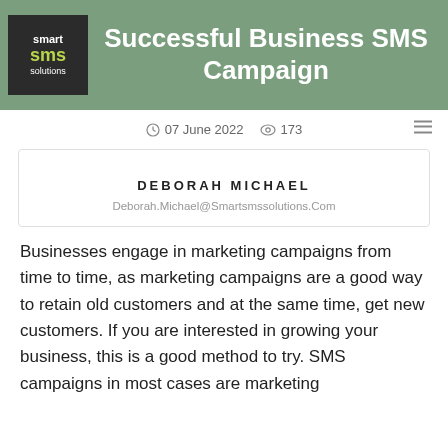Successful Business SMS Campaign
07 June 2022   173
[Figure (other): Author profile card showing name DEBORAH MICHAEL and email Deborah.Michael@Smartsmssolutions.Com]
Businesses engage in marketing campaigns from time to time, as marketing campaigns are a good way to retain old customers and at the same time, get new customers. If you are interested in growing your business, this is a good method to try. SMS campaigns in most cases are marketing